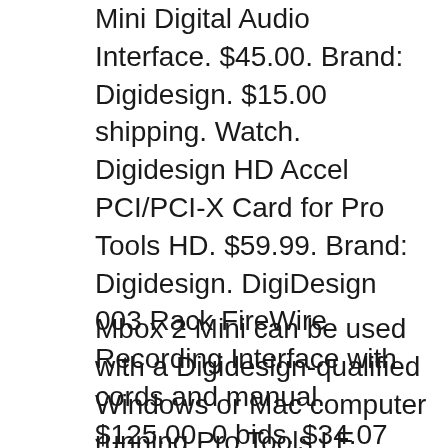Mini Digital Audio Interface. $45.00. Brand: Digidesign. $15.00 shipping. Watch. Digidesign HD Accel PCI/PCI-X Card for Pro Tools HD. $59.99. Brand: Digidesign. DigiDesign 003 Rack FireWire Recording Interface with cords and manual. $125.00. 0 bids. $34.07 shipping. Ending Feb 9 at 9:13AM PST 5d 17h. or Best
Mbox 2 Mini can be used with a Digidesign-qualified Windows or Mac computer running Pro Tools LE software. For complete system requirements, visit the Digidesign website (www.digidesign.com). Compatibility Information Digidesign can only assure compatibility with Mac OS X. The